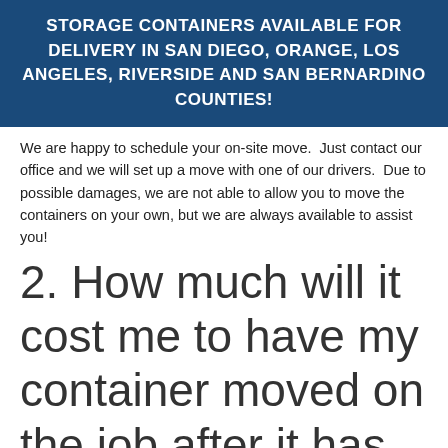STORAGE CONTAINERS AVAILABLE FOR DELIVERY IN SAN DIEGO, ORANGE, LOS ANGELES, RIVERSIDE AND SAN BERNARDINO COUNTIES!
We are happy to schedule your on-site move.  Just contact our office and we will set up a move with one of our drivers.  Due to possible damages, we are not able to allow you to move the containers on your own, but we are always available to assist you!
2. How much will it cost me to have my container moved on the job after it has been delivered?
Sun Pac will charge you no more than your delivery charge to move your container. However, we will need to be notified of the on-site move in advance. Please let us know a few days before you need the